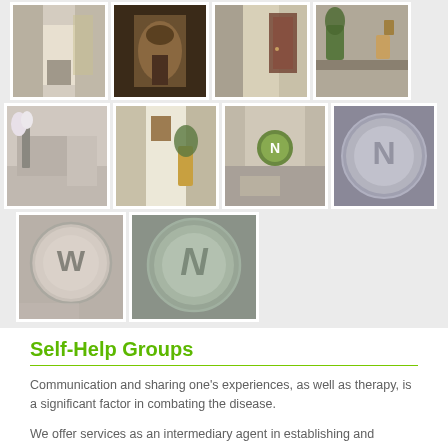[Figure (photo): Gallery of 10 interior/logo photos arranged in 3 rows: row 1 has 4 photos (lobby interior, decorative artwork, hallway with door, shelf with decorative items), row 2 has 4 photos (reception with orchid, hallway with artwork and plants, clinic reception with green circle logo, metallic N logo close-up), row 3 has 2 photos (close-up metallic W logo circle, large N logo circle)]
Self-Help Groups
Communication and sharing one’s experiences, as well as therapy, is a significant factor in combating the disease.
We offer services as an intermediary agent in establishing and maintaining these contacts.